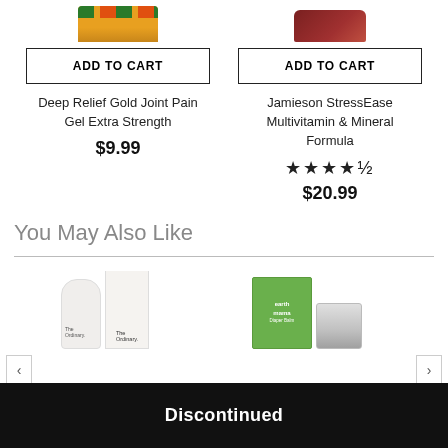[Figure (photo): Product image of Deep Relief Gold Joint Pain Gel Extra Strength (partially cropped at top)]
ADD TO CART
Deep Relief Gold Joint Pain Gel Extra Strength
$9.99
[Figure (photo): Product image of Jamieson StressEase Multivitamin & Mineral Formula (partially cropped at top)]
ADD TO CART
Jamieson StressEase Multivitamin & Mineral Formula
★★★★½
$20.99
You May Also Like
[Figure (photo): The Ordinary product (tube and box)]
[Figure (photo): Earth Mama Diaper Balm product (box and tin)]
Discontinued